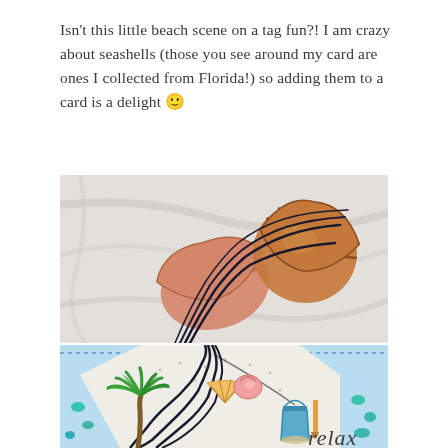Isn't this little beach scene on a tag fun?!  I am crazy about seashells (those you see around my card are ones I collected from Florida!) so adding them to a card is a delight 🙂
[Figure (photo): Close-up photo of two seashells (scallop shells) on a white marble or stone surface, with black twine/cord visible in the lower left area of the image.]
[Figure (photo): Close-up photo of a handmade craft card/tag with a beach scene. The tag features a sand dollar shape with illustrated beach elements: a palm tree, seashells, and a sand bucket with shovel. The background shows blue sky, teal sequins, and the word 'relax' in the bottom right corner.]